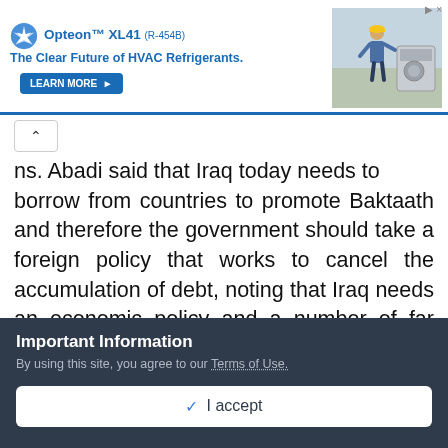[Figure (other): Advertisement banner for Opteon XL41 (R-454B) HVAC refrigerant with logo, tagline 'The Clear Future of HVAC Refrigerants.', a Learn More button, and an image of a technician with HVAC equipment.]
ns. Abadi said that Iraq today needs to borrow from countries to promote Baktaath and therefore the government should take a foreign policy that works to cancel the accumulation of debt, noting that Iraq needs an economic policy and a number of far from routine laws to encourage investment. He criticized Abadi, the Ministry of Planning, which did not work for the advancement of the country, especially as the
Important Information
By using this site, you agree to our Terms of Use.
I accept